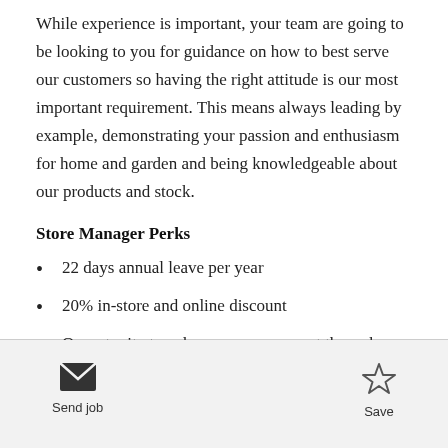While experience is important, your team are going to be looking to you for guidance on how to best serve our customers so having the right attitude is our most important requirement. This means always leading by example, demonstrating your passion and enthusiasm for home and garden and being knowledgeable about our products and stock.
Store Manager Perks
22 days annual leave per year
20% in-store and online discount
Opportunity to enhance your payment through our
Send job  Save